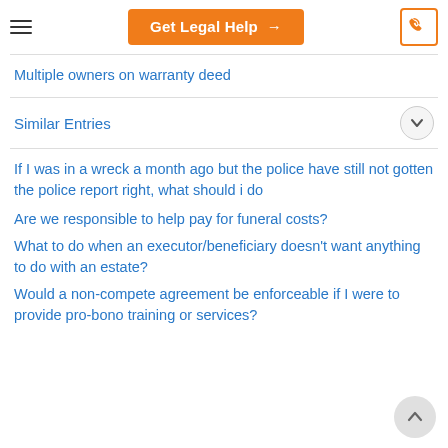Get Legal Help →
Multiple owners on warranty deed
Similar Entries
If I was in a wreck a month ago but the police have still not gotten the police report right, what should i do
Are we responsible to help pay for funeral costs?
What to do when an executor/beneficiary doesn't want anything to do with an estate?
Would a non-compete agreement be enforceable if I were to provide pro-bono training or services?